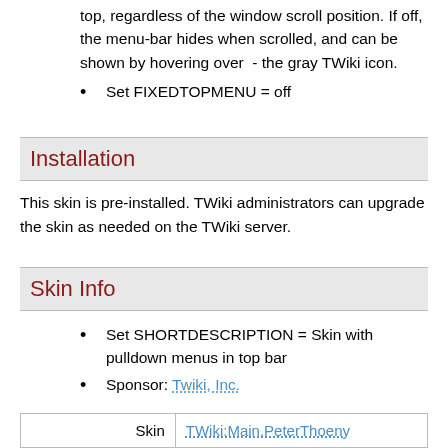top, regardless of the window scroll position. If off, the menu-bar hides when scrolled, and can be shown by hovering over  - the gray TWiki icon.
Set FIXEDTOPMENU = off
Installation
This skin is pre-installed. TWiki administrators can upgrade the skin as needed on the TWiki server.
Skin Info
Set SHORTDESCRIPTION = Skin with pulldown menus in top bar
Sponsor: Twiki, Inc.
|  |  |
| --- | --- |
| Skin | TWiki:Main.PeterThoeny |
| Author: |  |